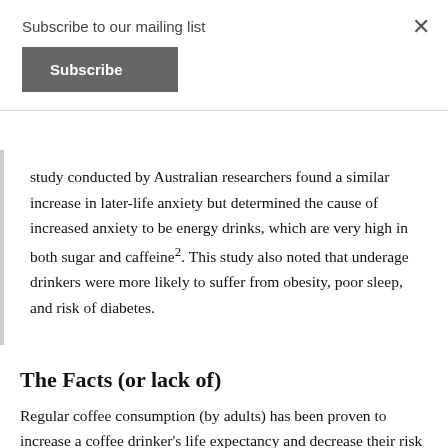Subscribe to our mailing list
Subscribe
study conducted by Australian researchers found a similar increase in later-life anxiety but determined the cause of increased anxiety to be energy drinks, which are very high in both sugar and caffeine2. This study also noted that underage drinkers were more likely to suffer from obesity, poor sleep, and risk of diabetes.
The Facts (or lack of)
Regular coffee consumption (by adults) has been proven to increase a coffee drinker's life expectancy and decrease their risk of developing multiple diseases including heart